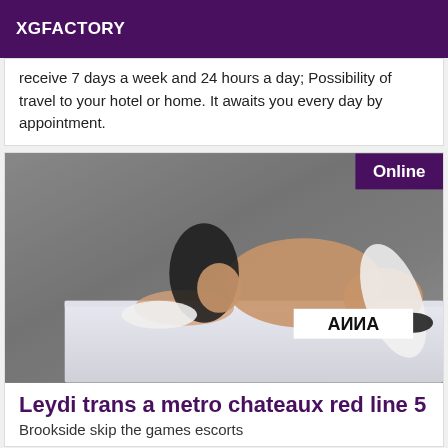XGFACTORY
receive 7 days a week and 24 hours a day; Possibility of travel to your hotel or home. It awaits you every day by appointment.
[Figure (photo): Photo of a person posing on a table with a watermark label 'ANNA' mirrored, and an 'Online' badge in the top right corner.]
Leydi trans a metro chateaux red line 5
Brookside skip the games escorts